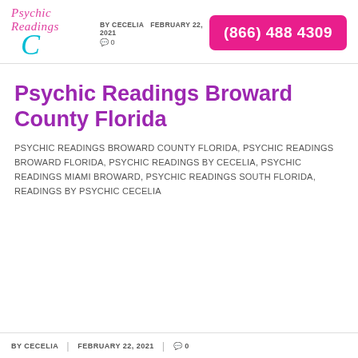[Figure (logo): Psychic Readings by Cecelia cursive logo with pink script text and teal decorative C]
BY CECELIA  FEBRUARY 22, 2021  0  (866) 488 4309
Psychic Readings Broward County Florida
PSYCHIC READINGS BROWARD COUNTY FLORIDA, PSYCHIC READINGS BROWARD FLORIDA, PSYCHIC READINGS BY CECELIA, PSYCHIC READINGS MIAMI BROWARD, PSYCHIC READINGS SOUTH FLORIDA, READINGS BY PSYCHIC CECELIA
BY CECELIA  |  FEBRUARY 22, 2021  |  0